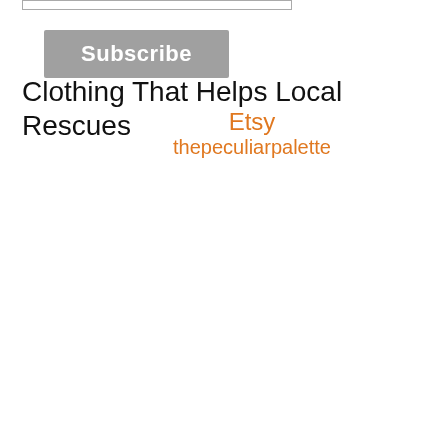[Figure (other): Input text field (email subscription form element), partially visible at top]
[Figure (other): Gray Subscribe button]
Clothing That Helps Local Rescues
Etsy
thepeculiarpalette